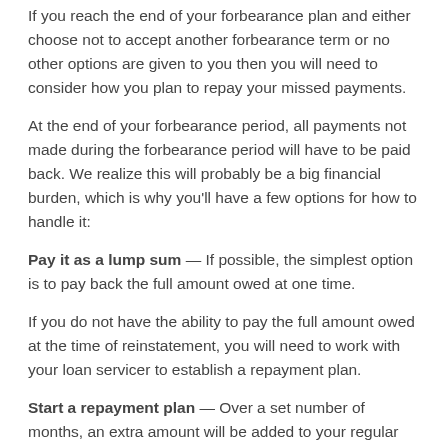If you reach the end of your forbearance plan and either choose not to accept another forbearance term or no other options are given to you then you will need to consider how you plan to repay your missed payments.
At the end of your forbearance period, all payments not made during the forbearance period will have to be paid back. We realize this will probably be a big financial burden, which is why you'll have a few options for how to handle it:
Pay it as a lump sum — If possible, the simplest option is to pay back the full amount owed at one time.
If you do not have the ability to pay the full amount owed at the time of reinstatement, you will need to work with your loan servicer to establish a repayment plan.
Start a repayment plan — Over a set number of months, an extra amount will be added to your regular mortgage